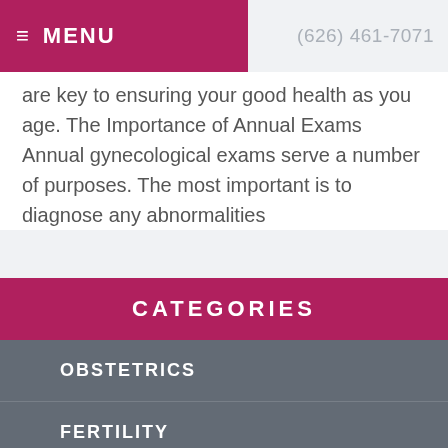≡ MENU   (626) 461-7071
are key to ensuring your good health as you age. The Importance of Annual Exams Annual gynecological exams serve a number of purposes. The most important is to diagnose any abnormalities
READ MORE
CATEGORIES
OBSTETRICS
FERTILITY
GYNECOLOGY